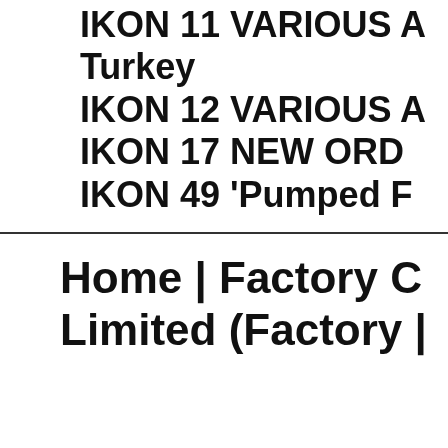IKON 11 VARIOUS A
Turkey
IKON 12 VARIOUS A
IKON 17 NEW ORD
IKON 49 'Pumped F
Home | Factory C
Limited (Factory |